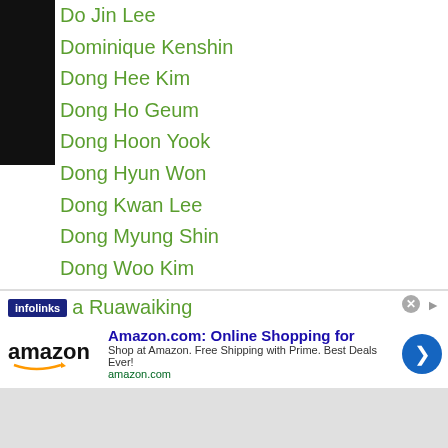Do Jin Lee
Dominique Kenshin
Dong Hee Kim
Dong Ho Geum
Dong Hoon Yook
Dong Hyun Won
Dong Kwan Lee
Dong Myung Shin
Dong Woo Kim
Donnie Nietes
Donnie-nietes
Donny Mabao
Doo Hyup Kim
Dostonbek Turdiev
Downfall Fighter Of The Year
a Ruawaiking
[Figure (screenshot): Amazon advertisement banner with infolinks label, Amazon logo, title 'Amazon.com: Online Shopping for', tagline 'Shop at Amazon. Free Shipping with Prime. Best Deals Ever!', amazon.com URL, and blue circular arrow button]